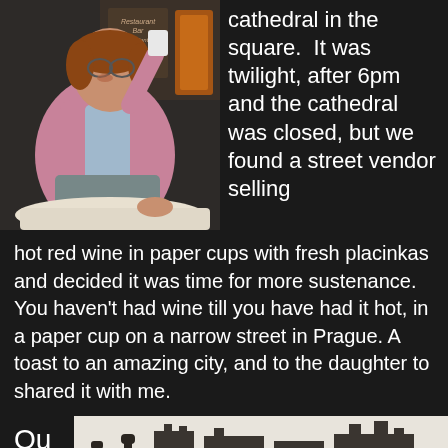[Figure (photo): Woman in pink cardigan raising a cup at an outdoor café table, with a restaurant sign visible in the background]
cathedral in the square.  It was twilight, after 6pm and the cathedral was closed, but we found a street vendor selling hot red wine in paper cups with fresh placinkas and decided it was time for more sustenance.  You haven't had wine till you have had it hot, in a paper cup on a narrow street in Prague. A toast to an amazing city, and to the daughter to shared it with me.
Ou
[Figure (photo): Partial black and white photo showing silhouettes of figures and buildings]